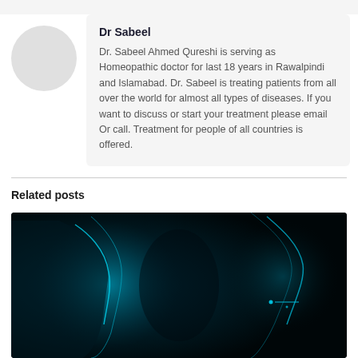[Figure (illustration): Circular avatar placeholder with light grey background]
Dr Sabeel
Dr. Sabeel Ahmed Qureshi is serving as Homeopathic doctor for last 18 years in Rawalpindi and Islamabad. Dr. Sabeel is treating patients from all over the world for almost all types of diseases. If you want to discuss or start your treatment please email Or call. Treatment for people of all countries is offered.
Related posts
[Figure (photo): Dark blue medical illustration showing a glowing teal/blue human figure or body scan on a black background, depicting neck/throat region]